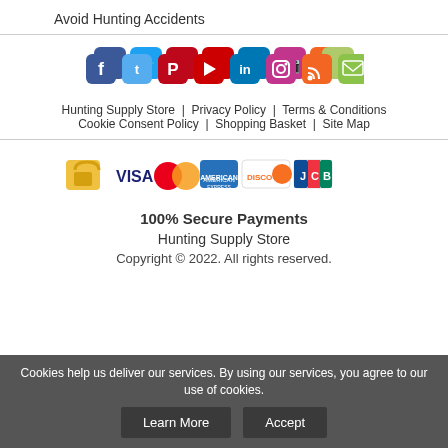Avoid Hunting Accidents
[Figure (infographic): Row of social media icons: Facebook, Twitter, Pinterest, YouTube, LinkedIn, Instagram, RSS, Email]
Hunting Supply Store   Privacy Policy   Terms & Conditions   Cookie Consent Policy   Shopping Basket   Site Map
[Figure (infographic): Payment method icons: lock, VISA, MasterCard, American Express, Discover, JCB]
100% Secure Payments
Hunting Supply Store
Copyright © 2022. All rights reserved.
Cookies help us deliver our services. By using our services, you agree to our use of cookies.
Learn More   Accept